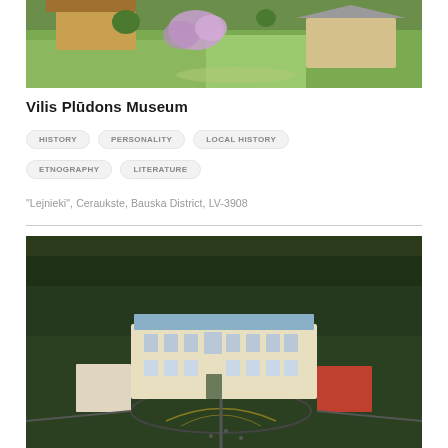[Figure (photo): Aerial view of a rural museum homestead with wooden buildings, green lawn, and blooming lilac bushes]
Vilis Plūdons Museum
HISTORY
PERSONALITY
LOCAL HISTORY
ETNOGRAPHY
LITERATURE
"Lejnieki", Ceraukste, Bauska District, LV-3908
[Figure (photo): Aerial view of a large baroque palace with blue roof surrounded by trees, parkland, and a river in the background]